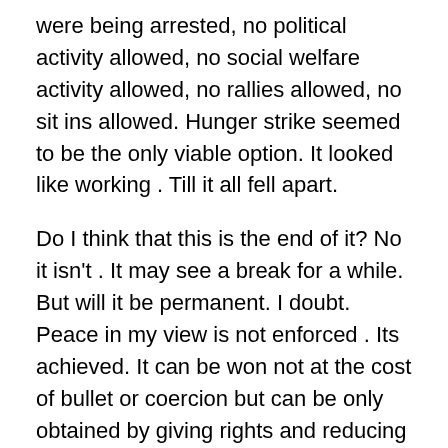were being arrested, no political activity allowed, no social welfare activity allowed, no rallies allowed, no sit ins allowed. Hunger strike seemed to be the only viable option. It looked like working . Till it all fell apart.
Do I think that this is the end of it? No it isn't . It may see a break for a while. But will it be permanent. I doubt. Peace in my view is not enforced . Its achieved. It can be won not at the cost of bullet or coercion but can be only obtained by giving rights and reducing the opportunity towards contempt.
I wish Pakistan well as I see and am excited with CPEC dollars rolling in. I am sad not to see any positive implications of which in Karachi. I hoped that with the new Mayor elected. The federal government could have injected some money rolling in to develop the city. I doubt